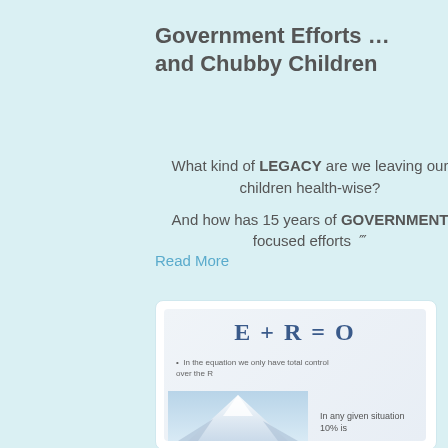Government Efforts … and Chubby Children
What kind of LEGACY are we leaving our children health-wise?
And how has 15 years of GOVERNMENT focused efforts … ‴
Read More
[Figure (infographic): Card showing formula E + R = O with bullet point: In the equation we only have total control over the R. Below is a mountain/iceberg photo and text: In any given situation 10% is]